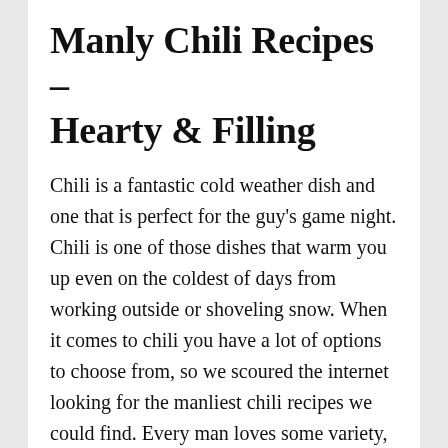Manly Chili Recipes – Hearty & Filling
Chili is a fantastic cold weather dish and one that is perfect for the guy's game night. Chili is one of those dishes that warm you up even on the coldest of days from working outside or shoveling snow. When it comes to chili you have a lot of options to choose from, so we scoured the internet looking for the manliest chili recipes we could find. Every man loves some variety, which is why this isn't a list of your typical chili's. These manly chili recipes will have you wanting a second bowl. If you're a dad fixing dinner these chili recipes are a kid pleaser as well. Check out all these different types of chili you can make. There's